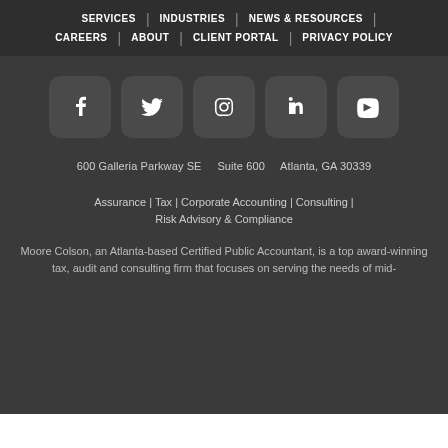SERVICES | INDUSTRIES | NEWS & RESOURCES | CAREERS | ABOUT | CLIENT PORTAL | PRIVACY POLICY
[Figure (logo): Row of five social media icons: Facebook, Twitter, Instagram, LinkedIn, YouTube — white icons on dark rounded square backgrounds]
600 Galleria Parkway SE    Suite 600    Atlanta, GA 30339
Assurance | Tax | Corporate Accounting | Consulting | Risk Advisory & Compliance
Moore Colson, an Atlanta-based Certified Public Accountant, is a top award-winning tax, audit and consulting firm that focuses on serving the needs of mid-